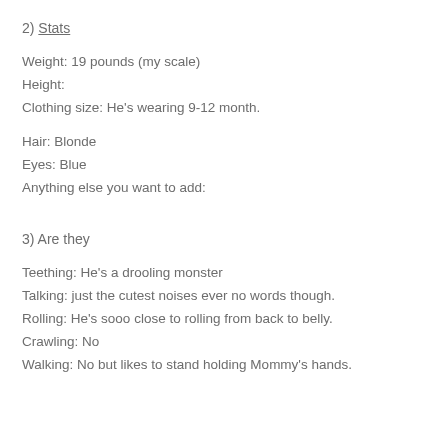2) Stats
Weight: 19 pounds (my scale)
Height:
Clothing size: He's wearing 9-12 month.
Hair: Blonde
Eyes: Blue
Anything else you want to add:
3) Are they
Teething: He's a drooling monster
Talking: just the cutest noises ever no words though.
Rolling: He's sooo close to rolling from back to belly.
Crawling: No
Walking: No but likes to stand holding Mommy's hands.